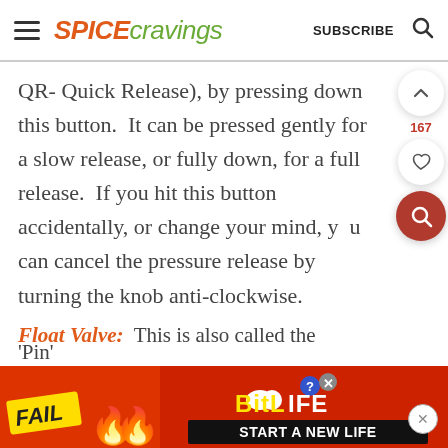SPICE cravings  SUBSCRIBE
QR- Quick Release), by pressing down this button.  It can be pressed gently for a slow release, or fully down, for a full release.  If you hit this button accidentally, or change your mind, you can cancel the pressure release by turning the knob anti-clockwise.
Float Valve:  This is also called the
'Pin'
[Figure (infographic): Advertisement banner: BitLife START A NEW LIFE ad with FAIL text, flames, and character illustration on red background]